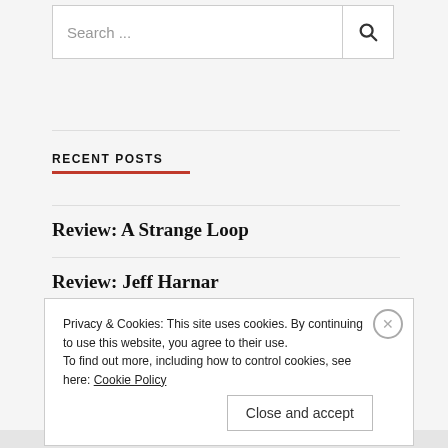Search ...
RECENT POSTS
Review: A Strange Loop
Review: Jeff Harnar
Review: POTUS: Or, Behind Every Great Dumbass
Privacy & Cookies: This site uses cookies. By continuing to use this website, you agree to their use. To find out more, including how to control cookies, see here: Cookie Policy
Close and accept